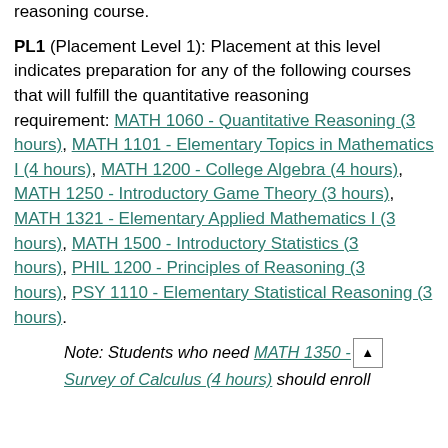reasoning course.
PL1 (Placement Level 1): Placement at this level indicates preparation for any of the following courses that will fulfill the quantitative reasoning requirement: MATH 1060 - Quantitative Reasoning (3 hours), MATH 1101 - Elementary Topics in Mathematics I (4 hours), MATH 1200 - College Algebra (4 hours), MATH 1250 - Introductory Game Theory (3 hours), MATH 1321 - Elementary Applied Mathematics I (3 hours), MATH 1500 - Introductory Statistics (3 hours), PHIL 1200 - Principles of Reasoning (3 hours), PSY 1110 - Elementary Statistical Reasoning (3 hours).
Note: Students who need MATH 1350 - Survey of Calculus (4 hours) should enroll